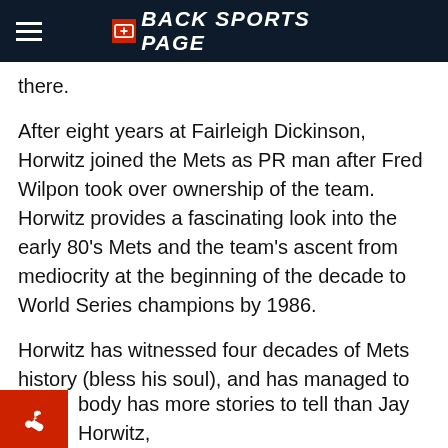BACK SPORTS PAGE
there.
After eight years at Fairleigh Dickinson, Horwitz joined the Mets as PR man after Fred Wilpon took over ownership of the team. Horwitz provides a fascinating look into the early 80’s Mets and the team’s ascent from mediocrity at the beginning of the decade to World Series champions by 1986.
Horwitz has witnessed four decades of Mets history (bless his soul), and has managed to not shrivel up from too much contact with Mets baseball. Horwitz has seen it all, from Mets manager Joe Torre to Bobby Valentine to 9/11 to Terry Collins.
body has more stories to tell than Jay Horwitz,